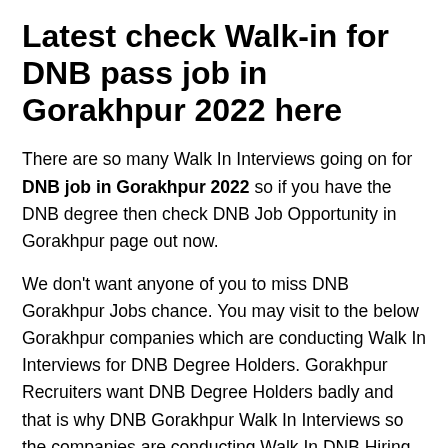Latest check Walk-in for DNB pass job in Gorakhpur 2022 here
There are so many Walk In Interviews going on for DNB job in Gorakhpur 2022 so if you have the DNB degree then check DNB Job Opportunity in Gorakhpur page out now.
We don't want anyone of you to miss DNB Gorakhpur Jobs chance. You may visit to the below Gorakhpur companies which are conducting Walk In Interviews for DNB Degree Holders. Gorakhpur Recruiters want DNB Degree Holders badly and that is why DNB Gorakhpur Walk In Interviews so the companies are conducting Walk In DNB Hiring